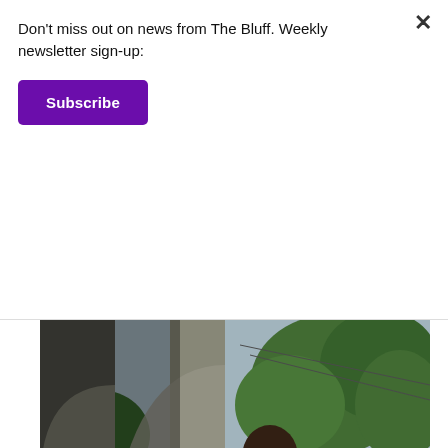Don't miss out on news from The Bluff. Weekly newsletter sign-up:
Subscribe
[Figure (photo): A young man wearing a white t-shirt and red shorts sits on a concrete bench on an outdoor veranda or porch with arched stone columns, reading a book. Trees and a car are visible in the background.]